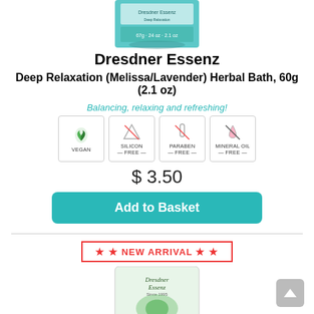[Figure (photo): Top portion of Dresdner Essenz product package (blue/green herbal bath packaging)]
Dresdner Essenz
Deep Relaxation (Melissa/Lavender) Herbal Bath, 60g (2.1 oz)
Balancing, relaxing and refreshing!
[Figure (infographic): Four product badges: VEGAN, SILICON FREE, PARABEN FREE, MINERAL OIL FREE]
$ 3.50
Add to Basket
★ ★ NEW ARRIVAL ★ ★
[Figure (photo): Dresdner Essenz Detox product package (bottom of page)]